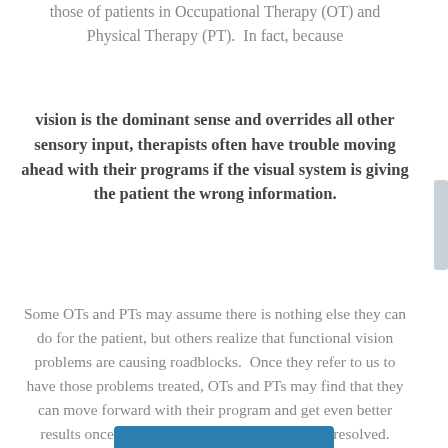those of patients in Occupational Therapy (OT) and Physical Therapy (PT).  In fact, because
vision is the dominant sense and overrides all other sensory input, therapists often have trouble moving ahead with their programs if the visual system is giving the patient the wrong information.
Some OTs and PTs may assume there is nothing else they can do for the patient, but others realize that functional vision problems are causing roadblocks.  Once they refer to us to have those problems treated, OTs and PTs may find that they can move forward with their program and get even better results once the functional vision problems are resolved.